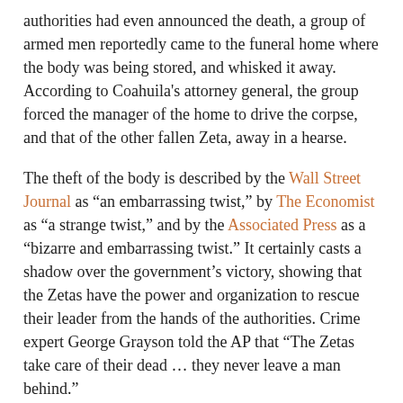authorities had even announced the death, a group of armed men reportedly came to the funeral home where the body was being stored, and whisked it away. According to Coahuila's attorney general, the group forced the manager of the home to drive the corpse, and that of the other fallen Zeta, away in a hearse.
The theft of the body is described by the Wall Street Journal as "an embarrassing twist," by The Economist as "a strange twist," and by the Associated Press as a "bizarre and embarrassing twist." It certainly casts a shadow over the government's victory, showing that the Zetas have the power and organization to rescue their leader from the hands of the authorities. Crime expert George Grayson told the AP that "The Zetas take care of their dead … they never leave a man behind."
The loss of the corpse could throw Lazcano's death into doubt. The navy has released pictures of the body, which look very similar to the crime boss (El Economista compares the living and dead photos here), and took fingerprints which it said matched those of Lazcano. However, according to Animal Politico, the Mexican government recorded the corpse's height as 160 cms, while the US DEA lists Lazcano as being 172.5 cms tall. They each give him